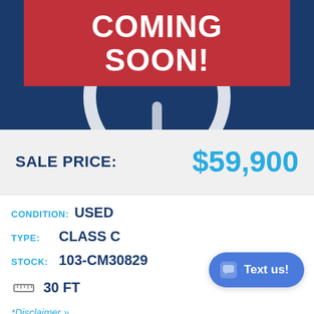[Figure (illustration): Coming Soon banner on dark navy blue background with clock graphic. Red rectangle contains white bold text 'COMING SOON!' with a white clock circle outline below.]
SALE PRICE: $59,900
CONDITION: USED
TYPE: CLASS C
STOCK: 103-CM30829
30 FT
*Disclaimer »